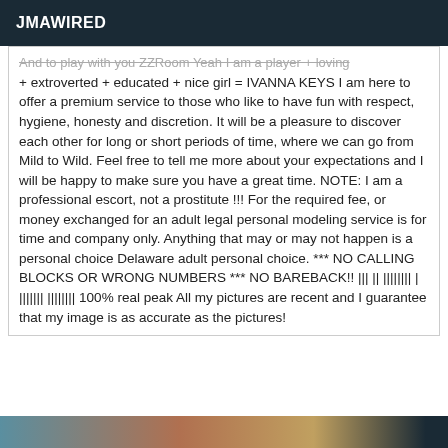JMAWIRED
And to play with you ZZRoom Yeah I am a player + loving + extroverted + educated + nice girl = IVANNA KEYS I am here to offer a premium service to those who like to have fun with respect, hygiene, honesty and discretion. It will be a pleasure to discover each other for long or short periods of time, where we can go from Mild to Wild. Feel free to tell me more about your expectations and I will be happy to make sure you have a great time. NOTE: I am a professional escort, not a prostitute !!! For the required fee, or money exchanged for an adult legal personal modeling service is for time and company only. Anything that may or may not happen is a personal choice Delaware adult personal choice. *** NO CALLING BLOCKS OR WRONG NUMBERS *** NO BAREBACK!! ||| || |||||||| | ||||||| |||||||| 100% real peak All my pictures are recent and I guarantee that my image is as accurate as the pictures!
[Figure (photo): Partial image strip visible at bottom of page]